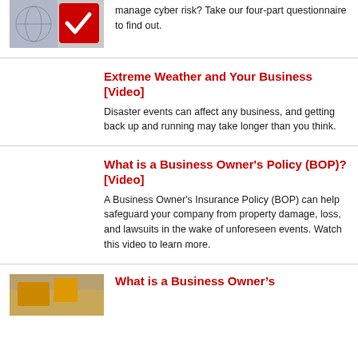manage cyber risk? Take our four-part questionnaire to find out.
Extreme Weather and Your Business [Video]
Disaster events can affect any business, and getting back up and running may take longer than you think.
What is a Business Owner's Policy (BOP)? [Video]
A Business Owner's Insurance Policy (BOP) can help safeguard your company from property damage, loss, and lawsuits in the wake of unforeseen events. Watch this video to learn more.